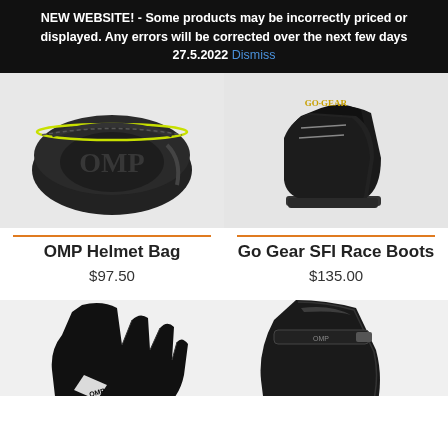NEW WEBSITE! - Some products may be incorrectly priced or displayed. Any errors will be corrected over the next few days 27.5.2022 Dismiss
[Figure (photo): OMP Helmet Bag - black bag with OMP logo and yellow trim, shown with shoulder strap]
[Figure (photo): Go Gear SFI Race Boots - black suede racing boots with gold GO GEAR logo text]
OMP Helmet Bag
$97.50
Go Gear SFI Race Boots
$135.00
[Figure (photo): Black racing glove with white OMP branding, partially visible, cut off at page bottom]
[Figure (photo): Black OMP racing boot/shoe, partially visible, cut off at page bottom]